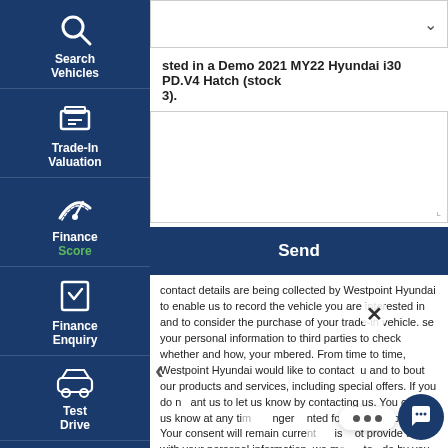[Figure (screenshot): Navigation sidebar with icons for Search Vehicles, Trade-In Valuation, Finance Score, Finance Enquiry, Test Drive, Click To Buy on a dark navy background]
interested in a Demo 2021 MY22 Hyundai i30 PD.V4 Hatch (stock 3).
Send
contact details are being collected by Westpoint Hyundai to enable us to record the vehicle you are interested in and to consider the purchase of your trade-in vehicle. se your personal information to third parties to check whether and how, your mbered. From time to time, Westpoint Hyundai would like to contact you and to bout our products and services, including special offers. If you do not want us to let us know by contacting us. You can let us know at any time no longer anted for these purposes. Your consent will remain current is ot provide us with your personal information, we m to de by you. If you would like to access the information out you n our privacy policy, please contact us at ndai.com.au/.